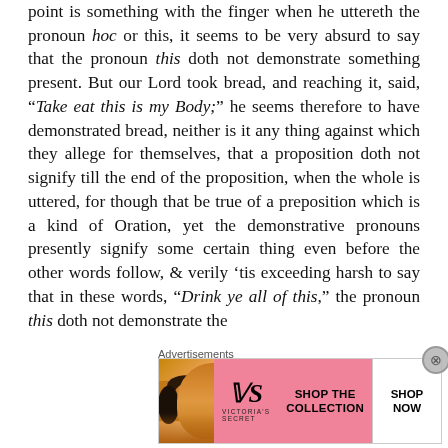point is something with the finger when he uttereth the pronoun hoc or this, it seems to be very absurd to say that the pronoun this doth not demonstrate something present. But our Lord took bread, and reaching it, said, "Take eat this is my Body;" he seems therefore to have demonstrated bread, neither is it any thing against which they allege for themselves, that a proposition doth not signify till the end of the proposition, when the whole is uttered, for though that be true of a preposition which is a kind of Oration, yet the demonstrative pronouns presently signify some certain thing even before the other words follow, & verily 'tis exceeding harsh to say that in these words, "Drink ye all of this," the pronoun this doth not demonstrate the
Advertisements
[Figure (illustration): Victoria's Secret advertisement banner showing a woman's face on the left with pink background, VS logo in center, 'SHOP THE COLLECTION' text, and 'SHOP NOW' button on the right.]